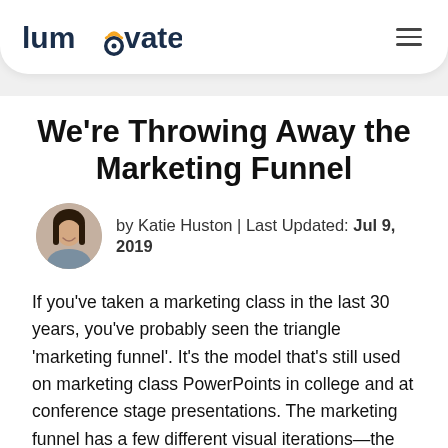lumavate
We're Throwing Away the Marketing Funnel
by Katie Huston | Last Updated: Jul 9, 2019
If you've taken a marketing class in the last 30 years, you've probably seen the triangle 'marketing funnel'. It's the model that's still used on marketing class PowerPoints in college and at conference stage presentations. The marketing funnel has a few different visual iterations—the upside down triangle, the oval, and (foreshadowing) the funnel itself.